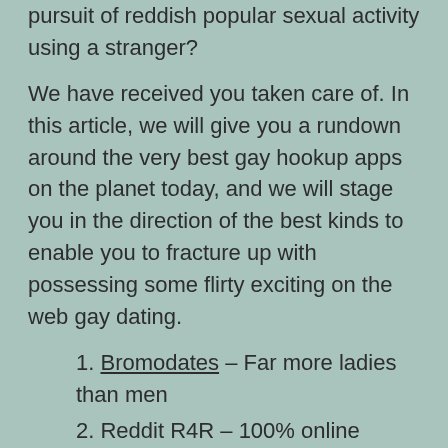pursuit of reddish popular sexual activity using a stranger?
We have received you taken care of. In this article, we will give you a rundown around the very best gay hookup apps on the planet today, and we will stage you in the direction of the best kinds to enable you to fracture up with possessing some flirty exciting on the web gay dating.
1. Bromodates – Far more ladies than men
2. Reddit R4R – 100% online dating site
3. Grindr – A good place for end users